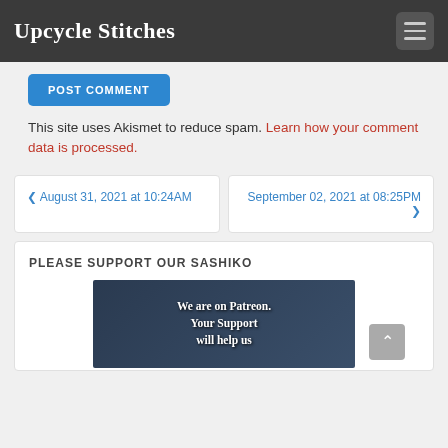Upcycle Stitches
POST COMMENT
This site uses Akismet to reduce spam. Learn how your comment data is processed.
‹ August 31, 2021 at 10:24AM
September 02, 2021 at 08:25PM ›
PLEASE SUPPORT OUR SASHIKO
[Figure (photo): Patreon promotional image with text: We are on Patreon. Your Support will help us]